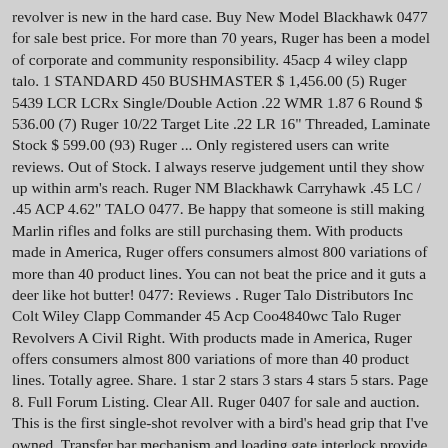revolver is new in the hard case. Buy New Model Blackhawk 0477 for sale best price. For more than 70 years, Ruger has been a model of corporate and community responsibility. 45acp 4 wiley clapp talo. 1 STANDARD 450 BUSHMASTER $ 1,456.00 (5) Ruger 5439 LCR LCRx Single/Double Action .22 WMR 1.87 6 Round $ 536.00 (7) Ruger 10/22 Target Lite .22 LR 16" Threaded, Laminate Stock $ 599.00 (93) Ruger ... Only registered users can write reviews. Out of Stock. I always reserve judgement until they show up within arm's reach. Ruger NM Blackhawk Carryhawk .45 LC / .45 ACP 4.62" TALO 0477. Be happy that someone is still making Marlin rifles and folks are still purchasing them. With products made in America, Ruger offers consumers almost 800 variations of more than 40 product lines. You can not beat the price and it guts a deer like hot butter! 0477: Reviews . Ruger Talo Distributors Inc Colt Wiley Clapp Commander 45 Acp Coo4840wc Talo Ruger Revolvers A Civil Right. With products made in America, Ruger offers consumers almost 800 variations of more than 40 product lines. Totally agree. Share. 1 star 2 stars 3 stars 4 stars 5 stars. Page 8. Full Forum Listing. Clear All. Ruger 0407 for sale and auction. This is the first single-shot revolver with a bird's head grip that I've owned. Transfer bar mechanism and loading gate interlock provide an unparalleled measure of security against accidental discharge. Detailed